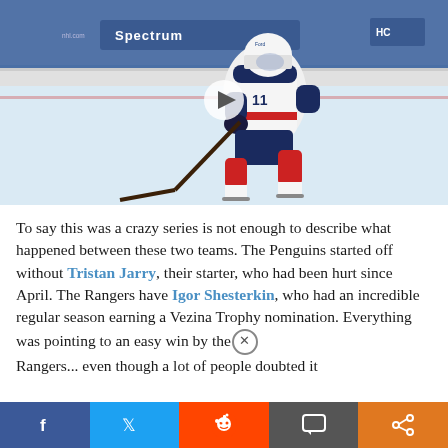[Figure (photo): Hockey player wearing Florida Panthers white jersey #11 in shooting stance on ice rink, with arena and Spectrum signage in background. Play button overlay visible in center of image.]
To say this was a crazy series is not enough to describe what happened between these two teams. The Penguins started off without Tristan Jarry, their starter, who had been hurt since April. The Rangers have Igor Shesterkin, who had an incredible regular season earning a Vezina Trophy nomination. Everything was pointing to an easy win by the Rangers... even though a lot of people doubted it
[Figure (infographic): Social share bar with Facebook, Twitter, Reddit, Comment, and Share buttons]